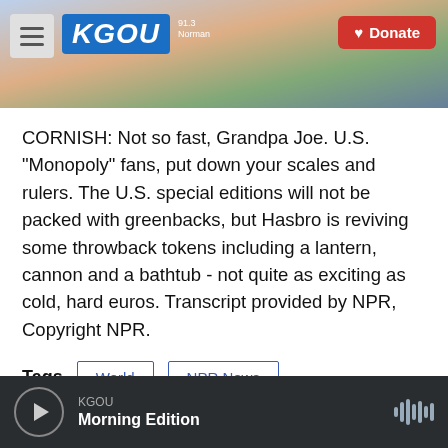[Figure (screenshot): KGOU radio station website header with hamburger menu, KGOU logo, city background photo, and red Donate button]
CORNISH: Not so fast, Grandpa Joe. U.S. "Monopoly" fans, put down your scales and rulers. The U.S. special editions will not be packed with greenbacks, but Hasbro is reviving some throwback tokens including a lantern, cannon and a bathtub - not quite as exciting as cold, hard euros. Transcript provided by NPR, Copyright NPR.
Tags  World  NPR News
[Figure (infographic): Social sharing buttons: Facebook (blue), Twitter (blue), LinkedIn (blue), Email (white/outlined)]
KGOU  Morning Edition